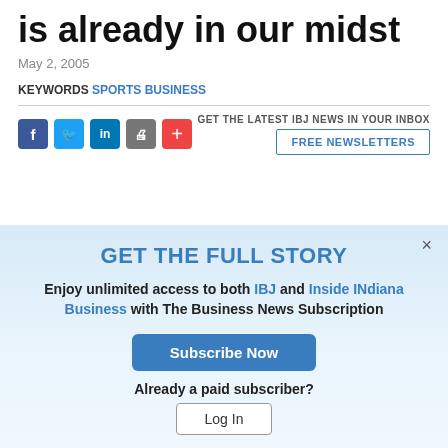The city's next Reggie is already in our midst
May 2, 2005
KEYWORDS SPORTS BUSINESS
GET THE LATEST IBJ NEWS IN YOUR INBOX
FREE NEWSLETTERS
GET THE FULL STORY
Enjoy unlimited access to both IBJ and Inside INdiana Business with The Business News Subscription
Subscribe Now
Already a paid subscriber?
Log In